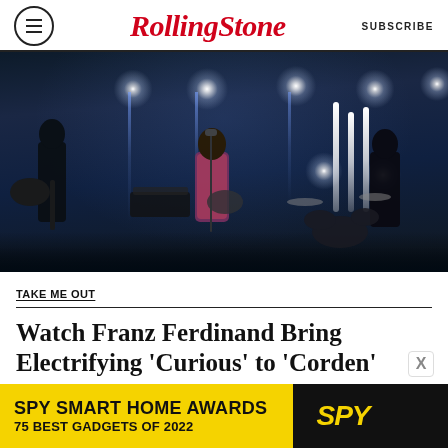Rolling Stone | SUBSCRIBE
[Figure (photo): Franz Ferdinand performing on stage with dramatic star-burst stage lighting. Band members playing guitar on left and right, lead singer in colorful patterned shirt at center microphone, drum kit visible in background right.]
TAKE ME OUT
Watch Franz Ferdinand Bring Electrifying 'Curious' to 'Corden'
BY DANIEL KREPS
[Figure (screenshot): SPY Smart Home Awards advertisement banner. Yellow background with text: SPY SMART HOME AWARDS 75 BEST GADGETS OF 2022. SPY logo in black and yellow on right side.]